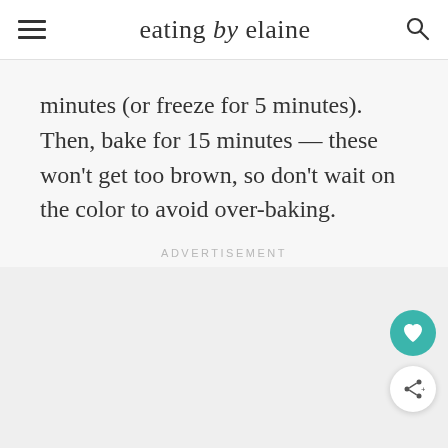eating by elaine
minutes (or freeze for 5 minutes).  Then, bake for 15 minutes — these won't get too brown, so don't wait on the color to avoid over-baking.
ADVERTISEMENT